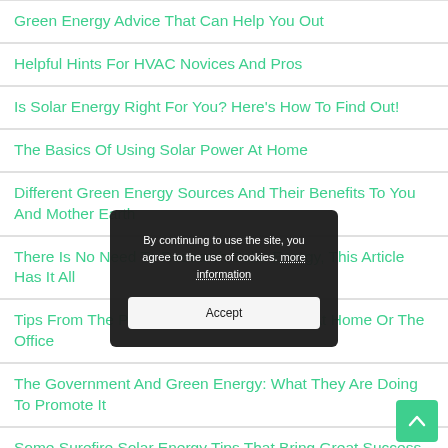Green Energy Advice That Can Help You Out
Helpful Hints For HVAC Novices And Pros
Is Solar Energy Right For You? Here's How To Find Out!
The Basics Of Using Solar Power At Home
Different Green Energy Sources And Their Benefits To You And Mother Earth
There Is No Need To Research Solar Energy, This Article Has It All
Tips From The Pros For Your HVAC Needs At Home Or The Office
The Government And Green Energy: What They Are Doing To Promote It
Some Surefire Solar Energy Tips That Bring Great Success
Harness Nature's Energy With These Green Energy Tips
[Figure (screenshot): Cookie consent overlay: 'By continuing to use the site, you agree to the use of cookies. more information' with an Accept button]
[Figure (other): Scroll-to-top button (green, with upward chevron arrow)]